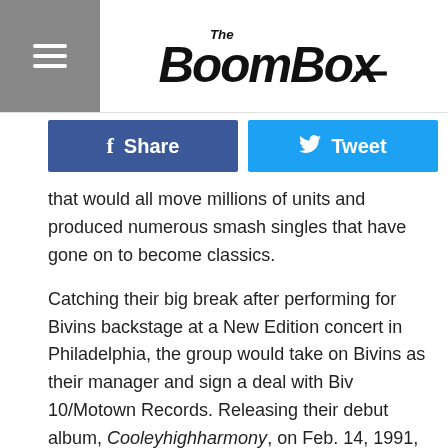The BoomBox
[Figure (other): Facebook Share and Twitter Tweet social sharing buttons]
that would all move millions of units and produced numerous smash singles that have gone on to become classics.
Catching their big break after performing for Bivins backstage at a New Edition concert in Philadelphia, the group would take on Bivins as their manager and sign a deal with Biv 10/Motown Records. Releasing their debut album, Cooleyhighharmony, on Feb. 14, 1991, Boyz II Men quickly became the hottest male R&B group in the game.
The album boasts multiple hit singles and help widened their appeal - unlike many of their R&B contemporaries - with their